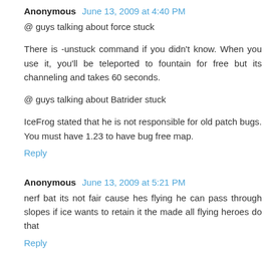Anonymous  June 13, 2009 at 4:40 PM
@ guys talking about force stuck
There is -unstuck command if you didn't know. When you use it, you'll be teleported to fountain for free but its channeling and takes 60 seconds.
@ guys talking about Batrider stuck
IceFrog stated that he is not responsible for old patch bugs. You must have 1.23 to have bug free map.
Reply
Anonymous  June 13, 2009 at 5:21 PM
nerf bat its not fair cause hes flying he can pass through slopes if ice wants to retain it the made all flying heroes do that
Reply